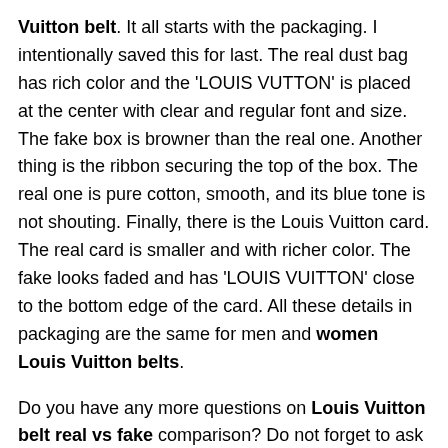Vuitton belt. It all starts with the packaging. I intentionally saved this for last. The real dust bag has rich color and the 'LOUIS VUTTON' is placed at the center with clear and regular font and size. The fake box is browner than the real one. Another thing is the ribbon securing the top of the box. The real one is pure cotton, smooth, and its blue tone is not shouting. Finally, there is the Louis Vuitton card. The real card is smaller and with richer color. The fake looks faded and has 'LOUIS VUITTON' close to the bottom edge of the card. All these details in packaging are the same for men and women Louis Vuitton belts.
Do you have any more questions on Louis Vuitton belt real vs fake comparison? Do not forget to ask in the comment section. I'm here to give you answers to all fashion questions you may have. My satisfaction is helping you make an informed decision and get the value of your money.